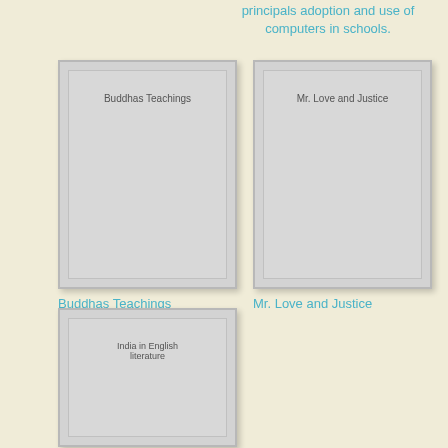principals adoption and use of computers in schools.
[Figure (illustration): Book cover placeholder for Buddhas Teachings - gray card with title text]
[Figure (illustration): Book cover placeholder for Mr. Love and Justice - gray card with title text]
Buddhas Teachings
Mr. Love and Justice
[Figure (illustration): Book cover placeholder for India in English literature - gray card with title text]
[Figure (illustration): Book cover for Vowel Sounds - colorful preschool book with yellow background, red spine, AEIOU letters]